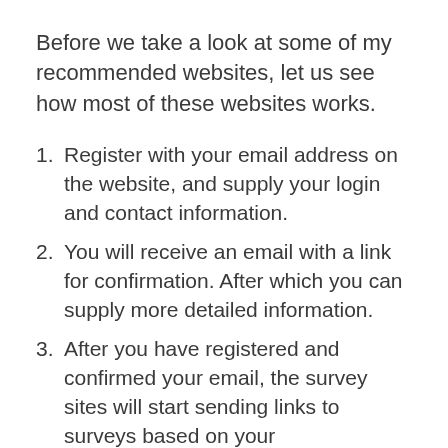Before we take a look at some of my recommended websites, let us see how most of these websites works.
Register with your email address on the website, and supply your login and contact information.
You will receive an email with a link for confirmation. After which you can supply more detailed information.
After you have registered and confirmed your email, the survey sites will start sending links to surveys based on your demographics.